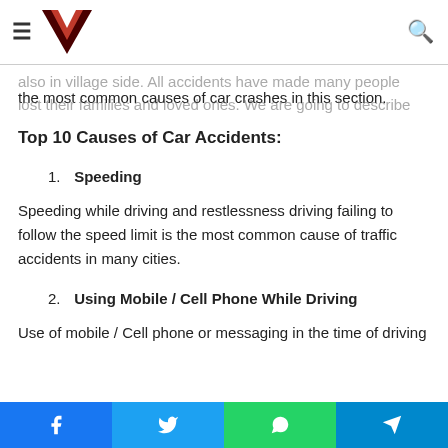Navigation bar with hamburger menu, Vue.js-style logo, and search icon
and this situation is alarming for everyone. The rate of accidents keeps on increasing day by day not just in towns but also in village side. All accidents have made many people lost their families and loved ones. We are going to describe the most common causes of car crashes in this section.
Top 10 Causes of Car Accidents:
1. Speeding
Speeding while driving and restlessness driving failing to follow the speed limit is the most common cause of traffic accidents in many cities.
2. Using Mobile / Cell Phone While Driving
Use of mobile / Cell phone or messaging in the time of driving
Share buttons: Facebook, Twitter, WhatsApp, Telegram